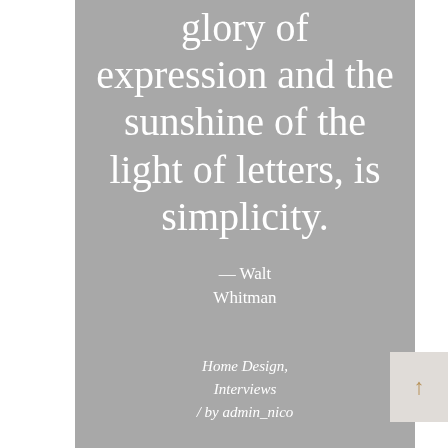glory of expression and the sunshine of the light of letters, is simplicity.
— Walt Whitman
Home Design, Interviews / by admin_nico